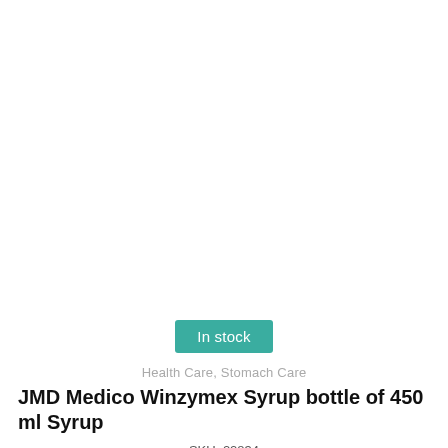In stock
Health Care, Stomach Care
JMD Medico Winzymex Syrup bottle of 450 ml Syrup
SKU: 22834
VENDOR: JMD Medico
This is a standard cookie notice which you can easily adapt or disable as you like in the admin. We use cookies to ensure that we give you the best experience on our website.
$10.00
Ships in 3-5 Business Days
PRIVACY POLICY   ACCEPT ✓
Real time 17 visitor right now